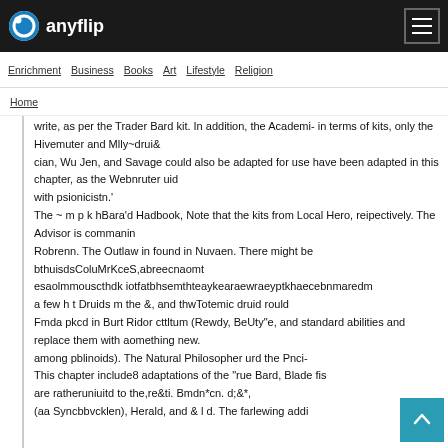anyflip
Enrichment | Business | Books | Art | Lifestyle | Religion
Home
write, as per the Trader Bard kit. In addition, the Academi- in terms of kits, only the Hivemuter and Mlly~drui& cian, Wu Jen, and Savage could also be adapted for use have been adapted in this chapter, as the Webnruter uid with psionicistn.' The ~ m p k hBara'd Hadbook, Note that the kits from Local Hero, reipectively. The Advisor is commanin Robrenn. The Outlaw in found in Nuvaen. There might be bthuisdsColuMrKceS,abreecnaomt esaolmmouscthdk iotfatbhsemthteaykearaewraeyptkhaecebnmaredm a few h t Druids m the &, and thwTotemic druid rould Fmda pkcd in Burt Ridor cttltum (Rewdy, BeUty"e, and standard abilities and replace them with aomething new. among pblinoids). The Natural Philosopher urd the Pnci- This chapter include8 adaptations of the "rue Bard, Blade fis are ratheruniuitd to the,re&ti. Bmdn*cn. d;&*, (aa Syncbbvcklen), Herald, and & l d. The farlewing addi